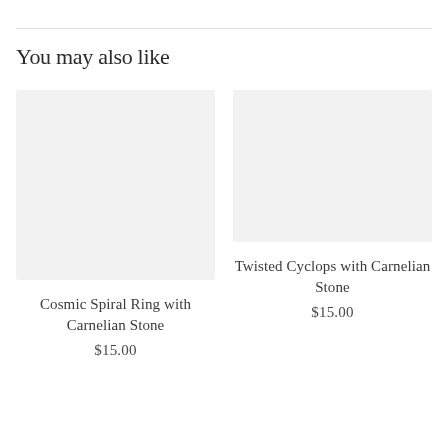You may also like
[Figure (photo): Product image placeholder for Cosmic Spiral Ring with Carnelian Stone (light gray background)]
Cosmic Spiral Ring with Carnelian Stone
$15.00
[Figure (photo): Product image placeholder for Twisted Cyclops with Carnelian Stone (light gray background)]
Twisted Cyclops with Carnelian Stone
$15.00